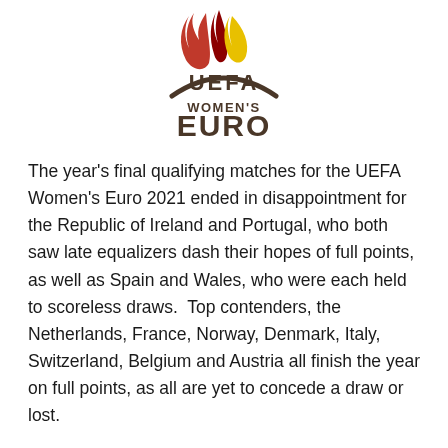[Figure (logo): UEFA Women's Euro logo with flame design at top and arc underneath UEFA text, followed by WOMEN'S EURO text in dark grey/brown lettering]
The year's final qualifying matches for the UEFA Women's Euro 2021 ended in disappointment for the Republic of Ireland and Portugal, who both saw late equalizers dash their hopes of full points, as well as Spain and Wales, who were each held to scoreless draws.  Top contenders, the Netherlands, France, Norway, Denmark, Italy, Switzerland, Belgium and Austria all finish the year on full points, as all are yet to concede a draw or lost.
Qualifying for the 2021 Women's Euro, which will be hosted by England, resumes in March 2020, although